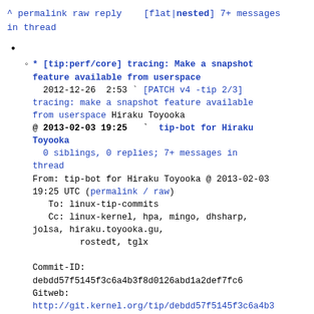^ permalink raw reply    [flat|nested] 7+ messages in thread
* [tip:perf/core] tracing: Make a snapshot feature available from userspace
  2012-12-26  2:53 ` [PATCH v4 -tip 2/3] tracing: make a snapshot feature available from userspace Hiraku Toyooka
@ 2013-02-03 19:25   ` tip-bot for Hiraku Toyooka
  0 siblings, 0 replies; 7+ messages in thread
From: tip-bot for Hiraku Toyooka @ 2013-02-03 19:25 UTC (permalink / raw)
   To: linux-tip-commits
   Cc: linux-kernel, hpa, mingo, dhsharp, jolsa, hiraku.toyooka.gu,
           rostedt, tglx

Commit-ID: debdd57f5145f3c6a4b3f8d0126abd1a2def7fc6
Gitweb: http://git.kernel.org/tip/debdd57f5145f3c6a4b3
Author:    Hiraku Toyooka